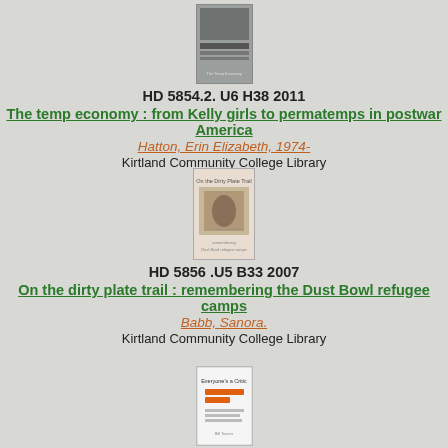[Figure (photo): Book cover for 'The temp economy: from Kelly girls to permatemps in postwar America']
HD 5854.2. U6 H38 2011
The temp economy : from Kelly girls to permatemps in postwar America
Hatton, Erin Elizabeth, 1974-
Kirtland Community College Library
[Figure (photo): Book cover for 'On the dirty plate trail: remembering the Dust Bowl refugee camps']
HD 5856 .U5 B33 2007
On the dirty plate trail : remembering the Dust Bowl refugee camps
Babb, Sanora.
Kirtland Community College Library
[Figure (photo): Book cover for 'Everyone's a critic: winning customers in a review-...']
HD 59 .T363 2014
Everyone's a critic : winning customers in a review-